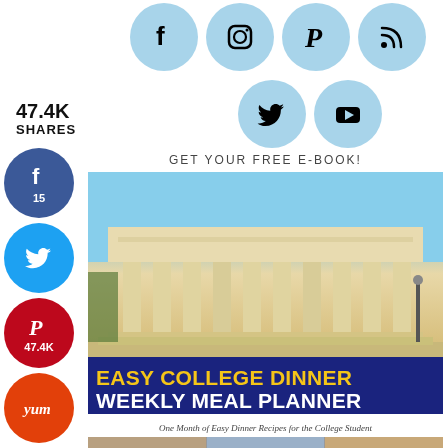[Figure (infographic): Social media icon circles in light blue: Facebook, Instagram, Pinterest, RSS icons in top row; Twitter and YouTube icons in second row]
47.4K
SHARES
[Figure (infographic): Side share buttons: Facebook (15), Twitter, Pinterest (47.4K), Yum]
GET YOUR FREE E-BOOK!
[Figure (photo): E-book cover showing a neoclassical college building with columns under blue sky, titled EASY COLLEGE DINNER WEEKLY MEAL PLANNER, One Month of Easy Dinner Recipes for the College Student, with food photos at the bottom]